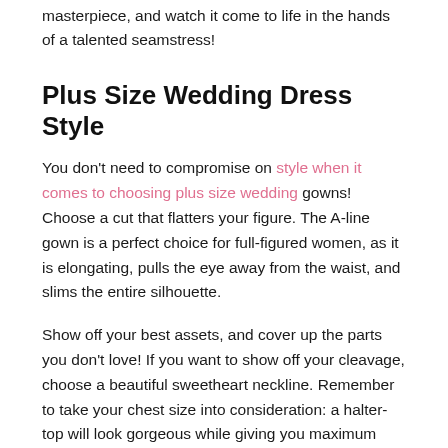masterpiece, and watch it come to life in the hands of a talented seamstress!
Plus Size Wedding Dress Style
You don't need to compromise on style when it comes to choosing plus size wedding gowns! Choose a cut that flatters your figure. The A-line gown is a perfect choice for full-figured women, as it is elongating, pulls the eye away from the waist, and slims the entire silhouette.
Show off your best assets, and cover up the parts you don't love! If you want to show off your cleavage, choose a beautiful sweetheart neckline. Remember to take your chest size into consideration: a halter-top will look gorgeous while giving you maximum support.